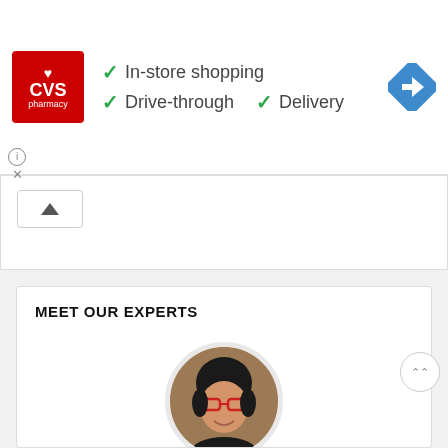[Figure (logo): CVS Pharmacy logo in red square with heart icon, shown alongside ad features: In-store shopping, Drive-through, Delivery with green checkmarks, and a blue navigation arrow icon on the right]
In-store shopping
Drive-through  Delivery
MEET OUR EXPERTS
[Figure (photo): Circular profile photo of a smiling woman with red glasses and dark hair]
Need to plan your own trip to Vietnam?
Unlock experiences far beyond the ordinary
FREE TRIP PLANNING